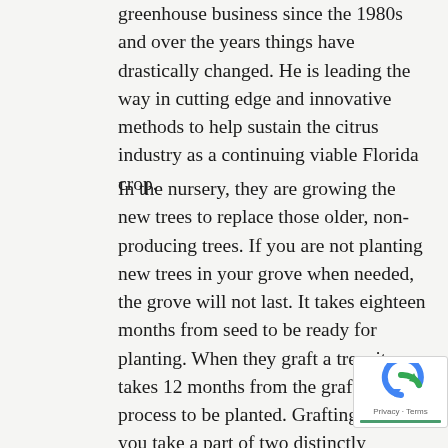greenhouse business since the 1980s and over the years things have drastically changed. He is leading the way in cutting edge and innovative methods to help sustain the citrus industry as a continuing viable Florida crop.
In the nursery, they are growing the new trees to replace those older, non-producing trees. If you are not planting new trees in your grove when needed, the grove will not last. It takes eighteen months from seed to be ready for planting. When they graft a tree, it takes 12 months from the grafting process to be planted. Grafting is when you take a part of two distinctly different yet related citrus species and fuse it together. The nursery houses 10 different scions, 25 root stock with the hope that these new varieties will increase the juice flavor of an already world-renowned Florida